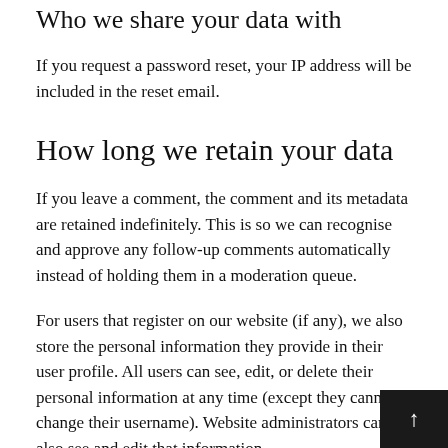Who we share your data with
If you request a password reset, your IP address will be included in the reset email.
How long we retain your data
If you leave a comment, the comment and its metadata are retained indefinitely. This is so we can recognise and approve any follow-up comments automatically instead of holding them in a moderation queue.
For users that register on our website (if any), we also store the personal information they provide in their user profile. All users can see, edit, or delete their personal information at any time (except they cannot change their username). Website administrators can also see and edit that information.
What rights you have over your data